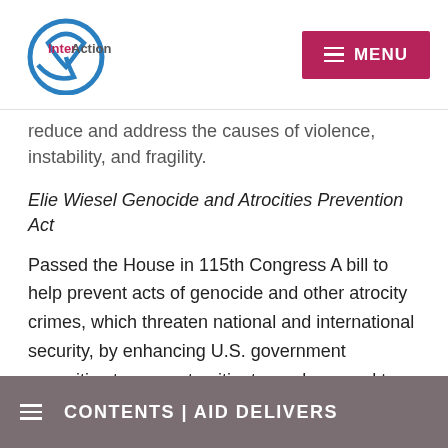InterAction | MENU
reduce and address the causes of violence, instability, and fragility.
Elie Wiesel Genocide and Atrocities Prevention Act
Passed the House in 115th Congress A bill to help prevent acts of genocide and other atrocity crimes, which threaten national and international security, by enhancing U.S. government capacities to prevent, mitigate, and respond to such crises.
2018 Stabilization Assistance Review
CONTENTS | AID DELIVERS